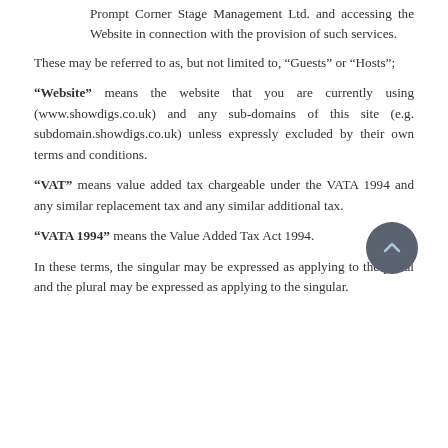Prompt Corner Stage Management Ltd. and accessing the Website in connection with the provision of such services.
These may be referred to as, but not limited to, “Guests” or “Hosts”;
“Website” means the website that you are currently using (www.showdigs.co.uk) and any sub-domains of this site (e.g. subdomain.showdigs.co.uk) unless expressly excluded by their own terms and conditions.
“VAT” means value added tax chargeable under the VATA 1994 and any similar replacement tax and any similar additional tax.
“VATA 1994” means the Value Added Tax Act 1994.
In these terms, the singular may be expressed as applying to the plural and the plural may be expressed as applying to the singular.